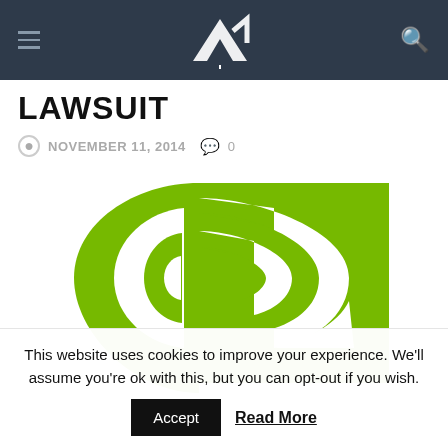VR [logo] — navigation bar with hamburger menu and search icon
LAWSUIT
NOVEMBER 11, 2014  0
[Figure (logo): NVIDIA green eye logo — half on white background, half on green square background]
This website uses cookies to improve your experience. We'll assume you're ok with this, but you can opt-out if you wish.
Accept   Read More